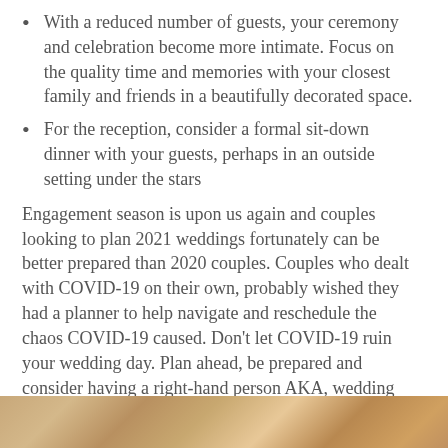With a reduced number of guests, your ceremony and celebration become more intimate.  Focus on the quality time and memories with your closest family and friends in a beautifully decorated space.
For the reception, consider a formal sit-down dinner with your guests, perhaps in an outside setting under the stars
Engagement season is upon us again and couples looking to plan 2021 weddings fortunately can be better prepared than 2020 couples.  Couples who dealt with COVID-19 on their own, probably wished they had a planner to help navigate and reschedule the chaos COVID-19 caused.  Don't let COVID-19 ruin your wedding day.  Plan ahead, be prepared and consider having a right-hand person AKA, wedding planner on your 2021 wedding team! Head to our Services Page to see what package works best for you!
[Figure (photo): Bottom strip of a photo showing a warm-toned outdoor scene, likely a wedding setting with golden/amber tones.]